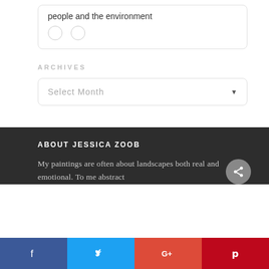people and the environment
ARCHIVES
[Figure (screenshot): A dropdown select box labeled 'Select Month' with a down arrow on the right]
ABOUT JESSICA ZOOB
My paintings are often about landscapes both real and emotional. To me abstract
[Figure (infographic): Social media sharing bar with Facebook, Twitter, Google+, and Pinterest buttons]